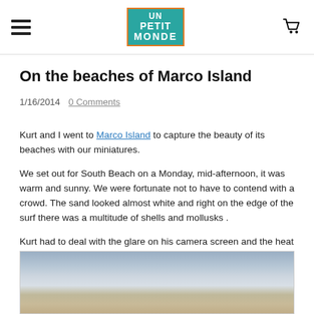UN PETIT MONDE
On the beaches of Marco Island
1/16/2014   0 Comments
Kurt and I went to Marco Island to capture the beauty of its beaches with our miniatures.
We set out for South Beach on a Monday, mid-afternoon, it was warm and sunny. We were fortunate not to have to contend with a crowd. The sand looked almost white and right on the edge of the surf there was a multitude of shells and mollusks .
Kurt had to deal with the glare on his camera screen and the heat but we don't want to complain about the heat, it's below zero back home.
[Figure (photo): Beach scene at Marco Island showing sky and sand]